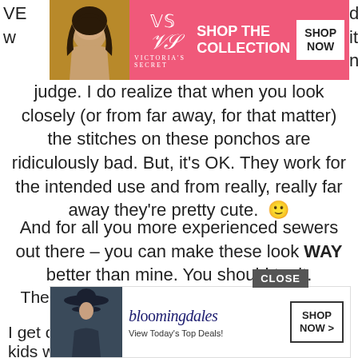[Figure (screenshot): Victoria's Secret advertisement banner with model, logo, 'SHOP THE COLLECTION' text and 'SHOP NOW' button on pink background]
judge.  I do realize that when you look closely (or from far away, for that matter) the stitches on these ponchos are ridiculously bad.  But, it's OK.  They work for the intended use and from really, really far away they're pretty cute. 🙂
And for all you more experienced sewers out there – you can make these look WAY better than mine. You should try it.
They were easy (so they would be SUPER EASY for a better sewer than me).
I get compliments EVERYTIME the kids we[ar] them.
[Figure (screenshot): Bloomingdale's advertisement banner with model in hat, logo, 'View Today's Top Deals!' and 'SHOP NOW >' button. CLOSE button visible above.]